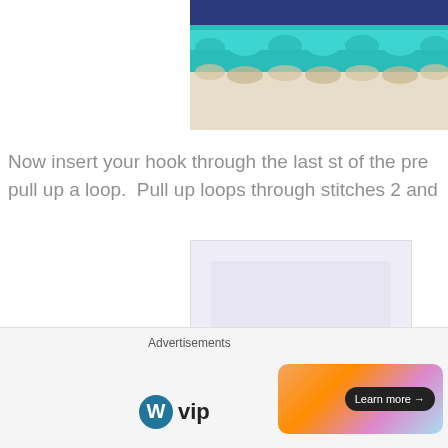[Figure (photo): Close-up photo of crochet stitches in blue and teal/turquoise yarn showing textured stitch pattern]
Now insert your hook through the last st of the pre pull up a loop.  Pull up loops through stitches 2 and
[Figure (photo): Pale lavender/white image showing crochet work in progress, partially visible, with a pink number 3 and step indicator overlay]
Advertisements
[Figure (logo): WordPress VIP logo]
[Figure (infographic): Advertisement banner with gradient background and Learn more button]